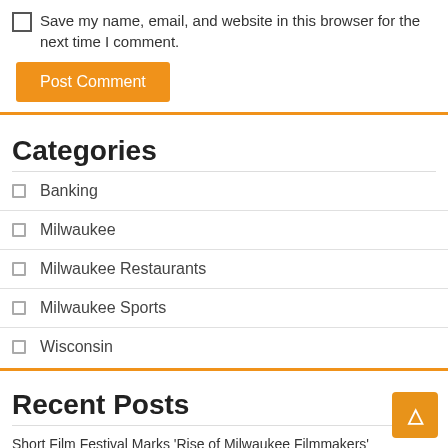Save my name, email, and website in this browser for the next time I comment.
Post Comment
Categories
Banking
Milwaukee
Milwaukee Restaurants
Milwaukee Sports
Wisconsin
Recent Posts
Short Film Festival Marks ‘Rise of Milwaukee Filmmakers’
Brewers make additions in September, recalls RHP Perdomo, OF Ruiz Wisconsin